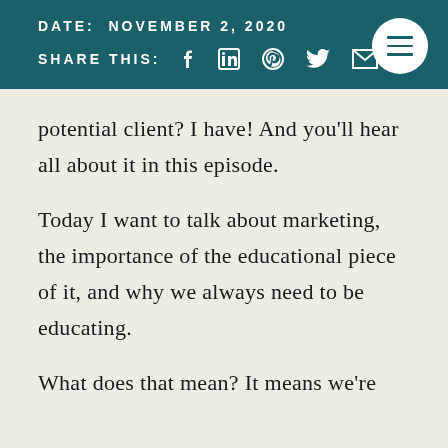DATE: NOVEMBER 2, 2020
SHARE THIS:
potential client? I have! And you'll hear all about it in this episode.
Today I want to talk about marketing, the importance of the educational piece of it, and why we always need to be educating.
What does that mean? It means we're